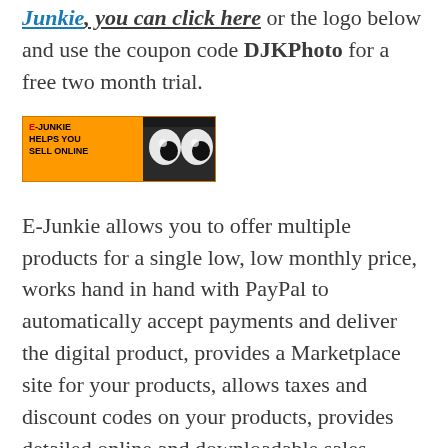Junkie, you can click here or the logo below and use the coupon code DJKPhoto for a free two month trial.
[Figure (logo): E-Junkie logo: orange banner with text 'E-JUNKIE HELPS YOU SELL ONLINE' and stylized eyes graphic]
E-Junkie allows you to offer multiple products for a single low, low monthly price, works hand in hand with PayPal to automatically accept payments and deliver the digital product, provides a Marketplace site for your products, allows taxes and discount codes on your products, provides detailed online and downloadable sales reports, and much more.
If you have digital content or actual physical